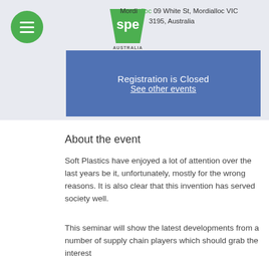[Figure (logo): SPE Australia New Zealand logo - green trapezoid shape with 'spe' text and 'AUSTRALIA NEW ZEALAND' below]
Mordialloc 09 White St, Mordialloc VIC 3195, Australia
Registration is Closed
See other events
About the event
Soft Plastics have enjoyed a lot of attention over the last years be it, unfortunately, mostly for the wrong reasons. It is also clear that this invention has served society well.
This seminar will show the latest developments from a number of supply chain players which should grab the interest